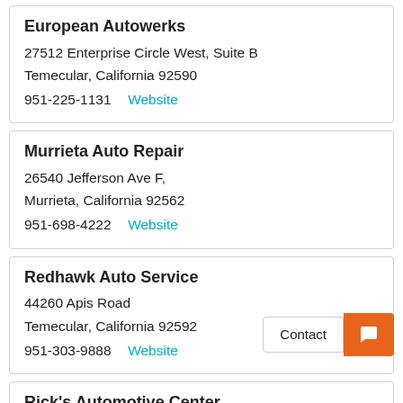European Autowerks
27512 Enterprise Circle West, Suite B
Temecular, California 92590
951-225-1131  Website
Murrieta Auto Repair
26540 Jefferson Ave F,
Murrieta, California 92562
951-698-4222  Website
Redhawk Auto Service
44260 Apis Road
Temecular, California 92592
951-303-9888  Website
Rick's Automotive Center